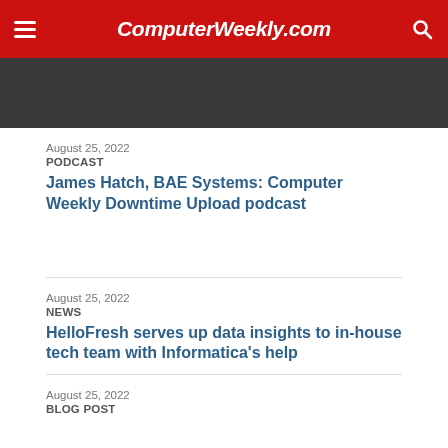ComputerWeekly.com
August 25, 2022
PODCAST
James Hatch, BAE Systems: Computer Weekly Downtime Upload podcast
August 25, 2022
NEWS
HelloFresh serves up data insights to in-house tech team with Informatica's help
August 25, 2022
BLOG POST